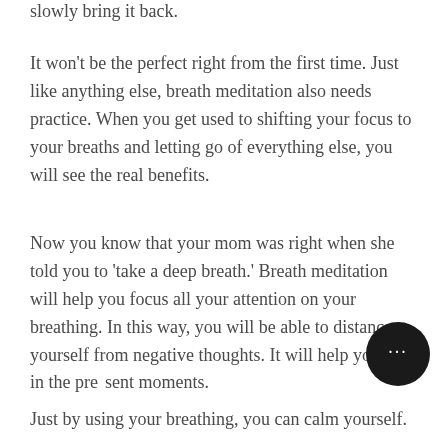slowly bring it back.
It won't be the perfect right from the first time. Just like anything else, breath meditation also needs practice. When you get used to shifting your focus to your breaths and letting go of everything else, you will see the real benefits.
Now you know that your mom was right when she told you to 'take a deep breath.' Breath meditation will help you focus all your attention on your breathing. In this way, you will be able to distance yourself from negative thoughts. It will help you stay in the present moments.
Just by using your breathing, you can calm yourself.